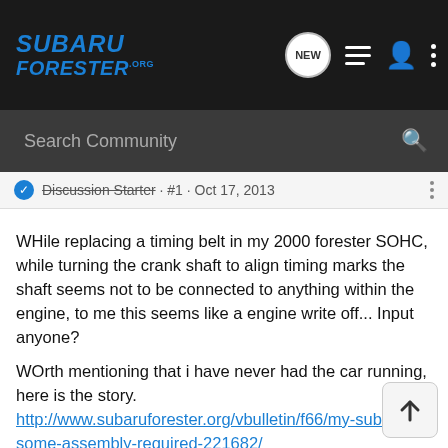SUBARU FORESTER.org — Navigation bar with logo, search icon, list icon, user icon, more icon
Search Community
Discussion Starter · #1 · Oct 17, 2013
WHile replacing a timing belt in my 2000 forester SOHC, while turning the crank shaft to align timing marks the shaft seems not to be connected to anything within the engine, to me this seems like a engine write off... Input anyone?
WOrth mentioning that i have never had the car running, here is the story.
http://www.subaruforester.org/vbulletin/f66/my-subaru-some-assembly-required-221682/
i was going to try putting a new belt on to try it out but it seems like the crank is no longer connected to the pistons as it turns very very easy.